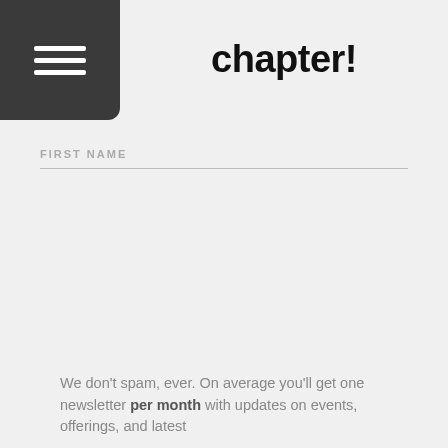chapter!
FIRST NAME
We don't spam, ever. On average you'll get one newsletter per month with updates on events, offerings, and latest